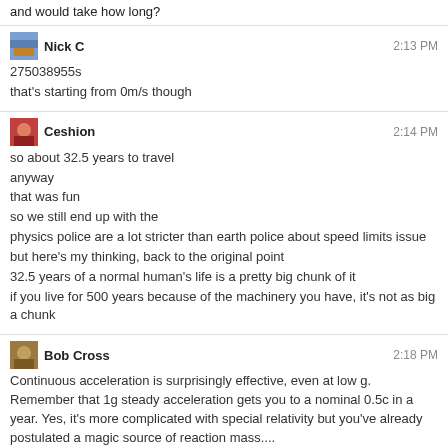and would take how long?
Nick C  2:13 PM
275038955s
that's starting from 0m/s though
Ceshion  2:14 PM
so about 32.5 years to travel
anyway
that was fun
so we still end up with the
physics police are a lot stricter than earth police about speed limits issue
but here's my thinking, back to the original point
32.5 years of a normal human's life is a pretty big chunk of it
if you live for 500 years because of the machinery you have, it's not as big a chunk
Bob Cross  2:18 PM
Continuous acceleration is surprisingly effective, even at low g. Remember that 1g steady acceleration gets you to a nominal 0.5c in a year. Yes, it's more complicated with special relativity but you've already postulated a magic source of reaction mass....
Ceshion  2:19 PM
suppose so! so really high acceleration actually only speeds up interplanetary travel
Bob Cross  2:19 PM
Also, time dialation applies to the people on board this magic ship. They age slower than the universe around them.